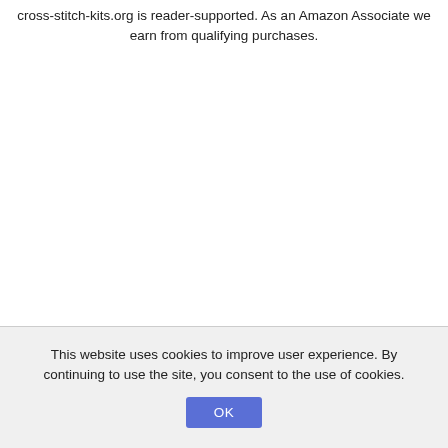cross-stitch-kits.org is reader-supported. As an Amazon Associate we earn from qualifying purchases.
This website uses cookies to improve user experience. By continuing to use the site, you consent to the use of cookies.